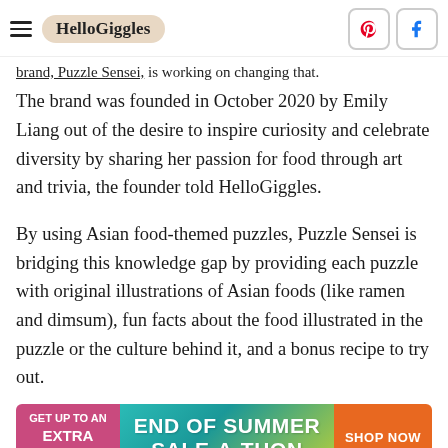HelloGiggles
brand, Puzzle Sensei, is working on changing that. The brand was founded in October 2020 by Emily Liang out of the desire to inspire curiosity and celebrate diversity by sharing her passion for food through art and trivia, the founder told HelloGiggles.
By using Asian food-themed puzzles, Puzzle Sensei is bridging this knowledge gap by providing each puzzle with original illustrations of Asian foods (like ramen and dimsum), fun facts about the food illustrated in the puzzle or the culture behind it, and a bonus recipe to try out.
[Figure (infographic): Advertisement banner: GET UP TO AN EXTRA 50% OFF | END OF SUMMER SALE-A-THON | SHOP NOW]